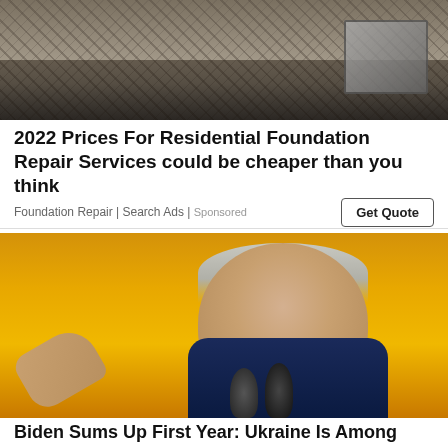[Figure (photo): Photo of rubble/foundation damage at the top of an advertisement]
2022 Prices For Residential Foundation Repair Services could be cheaper than you think
Foundation Repair | Search Ads | Sponsored
[Figure (photo): Photo of President Biden speaking at a podium against a gold/yellow background, pointing with one hand]
Biden Sums Up First Year: Ukraine Is Among